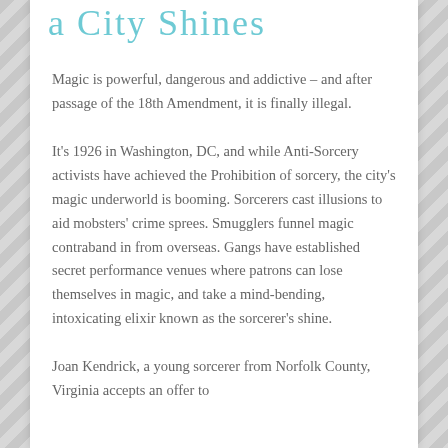a City Shines
Magic is powerful, dangerous and addictive – and after passage of the 18th Amendment, it is finally illegal.
It's 1926 in Washington, DC, and while Anti-Sorcery activists have achieved the Prohibition of sorcery, the city's magic underworld is booming. Sorcerers cast illusions to aid mobsters' crime sprees. Smugglers funnel magic contraband in from overseas. Gangs have established secret performance venues where patrons can lose themselves in magic, and take a mind-bending, intoxicating elixir known as the sorcerer's shine.
Joan Kendrick, a young sorcerer from Norfolk County, Virginia accepts an offer to